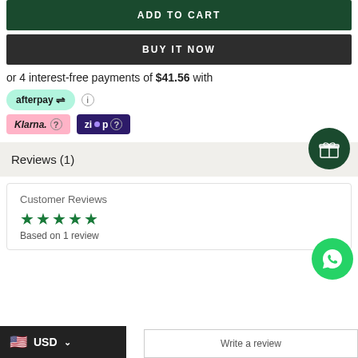ADD TO CART
BUY IT NOW
or 4 interest-free payments of $41.56 with
[Figure (logo): Afterpay badge in mint green with arrow icon]
[Figure (logo): Klarna badge in pink and Zip badge in dark purple]
[Figure (illustration): Dark green gift icon circle button]
Reviews (1)
[Figure (illustration): WhatsApp green circle button]
Customer Reviews
[Figure (other): Five green stars rating]
Based on 1 review
USD
Write a review